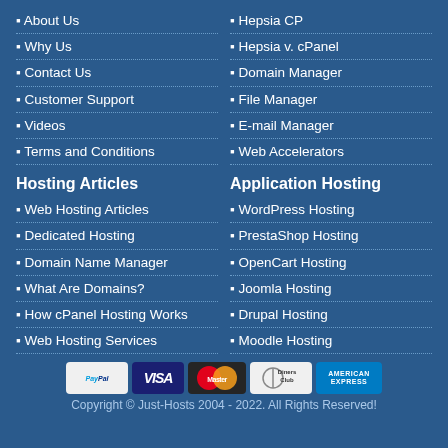About Us
Why Us
Contact Us
Customer Support
Videos
Terms and Conditions
Hosting Articles
Web Hosting Articles
Dedicated Hosting
Domain Name Manager
What Are Domains?
How cPanel Hosting Works
Web Hosting Services
Hepsia CP
Hepsia v. cPanel
Domain Manager
File Manager
E-mail Manager
Web Accelerators
Application Hosting
WordPress Hosting
PrestaShop Hosting
OpenCart Hosting
Joomla Hosting
Drupal Hosting
Moodle Hosting
[Figure (other): Payment method logos: PayPal, Visa, MasterCard, Diners Club, American Express]
Copyright © Just-Hosts 2004 - 2022. All Rights Reserved!